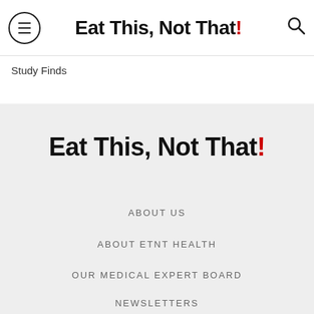Eat This, Not That!
Study Finds
[Figure (logo): Eat This, Not That! logo in large bold text with red exclamation mark, on a light gray background]
ABOUT US
ABOUT ETNT HEALTH
OUR MEDICAL EXPERT BOARD
NEWSLETTERS